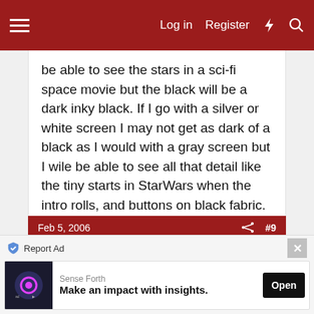Log in  Register
be able to see the stars in a sci-fi space movie but the black will be a dark inky black. If I go with a silver or white screen I may not get as dark of a black as I would with a gray screen but I wile be able to see all that detail like the tiny starts in StarWars when the intro rolls, and buttons on black fabric.
Feb 5, 2006  #9
Robin
Well-known member
Sound Great...
Report Ad  Sense Forth  Make an impact with insights.  Open